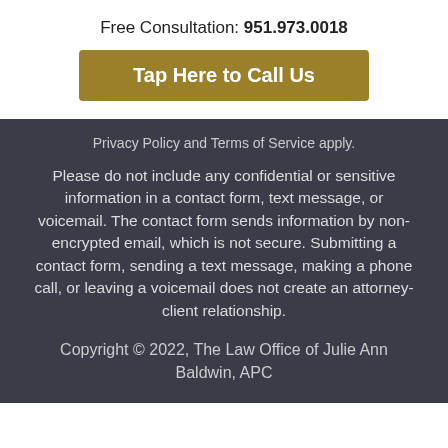Free Consultation: 951.973.0018
Tap Here to Call Us
Privacy Policy and Terms of Service apply.
Please do not include any confidential or sensitive information in a contact form, text message, or voicemail. The contact form sends information by non-encrypted email, which is not secure. Submitting a contact form, sending a text message, making a phone call, or leaving a voicemail does not create an attorney-client relationship.
Copyright © 2022, The Law Office of Julie Ann Baldwin, APC